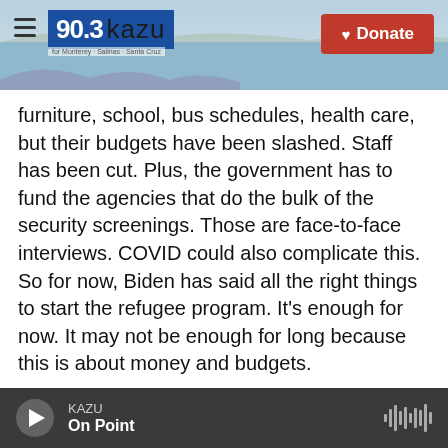90.3 KAZU — For Monterey · Salinas · Santa Cruz — Donate
furniture, school, bus schedules, health care, but their budgets have been slashed. Staff has been cut. Plus, the government has to fund the agencies that do the bulk of the security screenings. Those are face-to-face interviews. COVID could also complicate this. So for now, Biden has said all the right things to start the refugee program. It's enough for now. It may not be enough for long because this is about money and budgets.
INSKEEP: Well, let's talk about the politics here because the new administration has said it wants U.S. foreign policy to relate to what Americans
KAZU — On Point